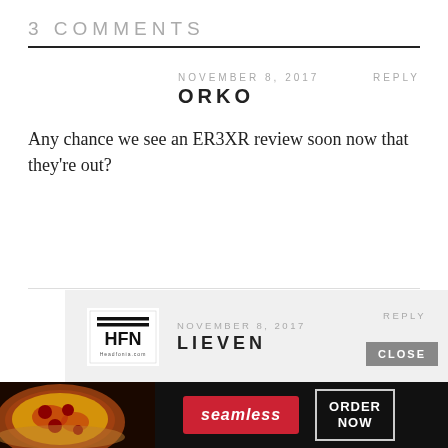3 COMMENTS
NOVEMBER 8, 2017   REPLY
ORKO
Any chance we see an ER3XR review soon now that they're out?
[Figure (logo): HFN Headfonia.com logo - black square with HFN text and horizontal lines]
NOVEMBER 8, 2017   REPLY
LIEVEN
Very soon!
[Figure (photo): Seamless food delivery advertisement banner with pizza image, red Seamless button, and ORDER NOW button on dark background]